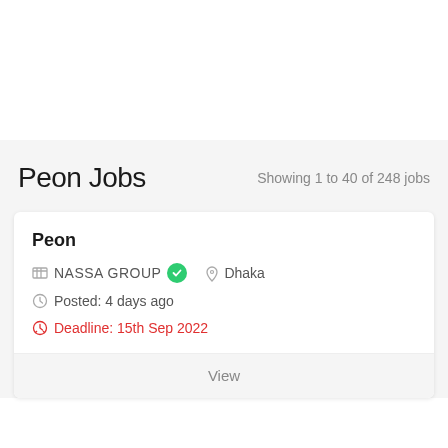Peon Jobs
Showing 1 to 40 of 248 jobs
Peon
NASSA GROUP
Dhaka
Posted: 4 days ago
Deadline: 15th Sep 2022
View